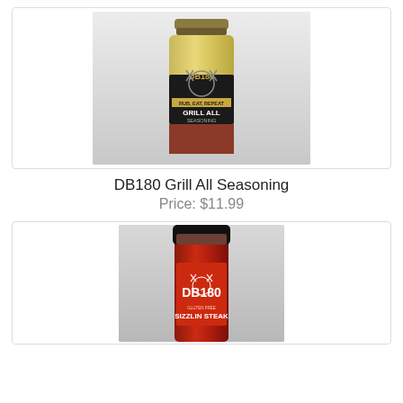[Figure (photo): DB180 Grill All Seasoning bottle with olive/yellow-green label showing crossed grill tools, a grill emblem, and text 'RUB, EAT, REPEAT - GRILL ALL SEASONING']
DB180 Grill All Seasoning
Price: $11.99
[Figure (photo): DB180 Sizzlin Steak seasoning bottle with red label, black cap, showing crossed grill tools and grill emblem, partially visible at bottom of page]